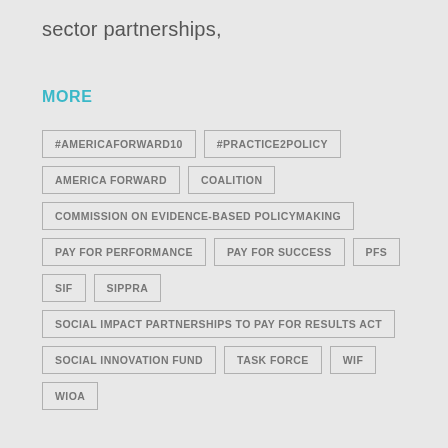sector partnerships,
MORE
#AMERICAFORWARD10
#PRACTICE2POLICY
AMERICA FORWARD
COALITION
COMMISSION ON EVIDENCE-BASED POLICYMAKING
PAY FOR PERFORMANCE
PAY FOR SUCCESS
PFS
SIF
SIPPRA
SOCIAL IMPACT PARTNERSHIPS TO PAY FOR RESULTS ACT
SOCIAL INNOVATION FUND
TASK FORCE
WIF
WIOA